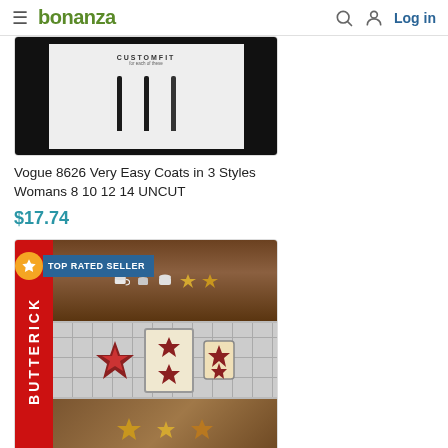bonanza — Log in
[Figure (photo): Product image of Vogue 8626 sewing pattern showing a white shirt with suspenders on black background]
Vogue 8626 Very Easy Coats in 3 Styles Womans 8 10 12 14 UNCUT
$17.74
[Figure (photo): Butterick sewing pattern image showing kitchen items including mugs, star quilts, and baked goods with red Butterick spine label. TOP RATED SELLER badge shown.]
Butterick Sewing Pattern 314 Kitch...